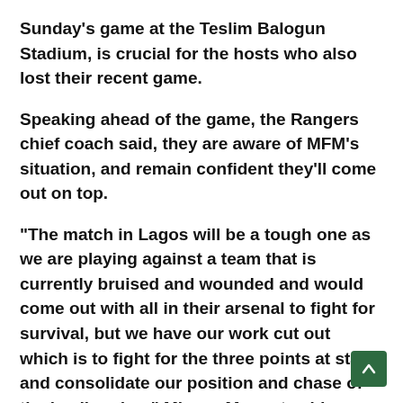Sunday's game at the Teslim Balogun Stadium, is crucial for the hosts who also lost their recent game.
Speaking ahead of the game, the Rangers chief coach said, they are aware of MFM's situation, and remain confident they'll come out on top.
“The match in Lagos will be a tough one as we are playing against a team that is currently bruised and wounded and would come out with all in their arsenal to fight for survival, but we have our work cut out which is to fight for the three points at stake and consolidate our position and chase of the leading duo,” Mbwas Mangut said.
“We are well prepared for the assignment as the players appreciate the task at hand and are determined to up their game against M.F.M. I am optimistic of a good